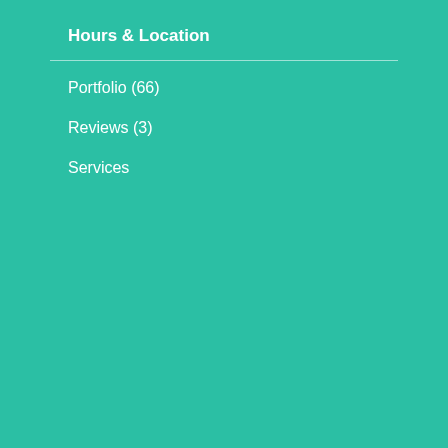Hours & Location
Portfolio (66)
Reviews (3)
Services
[Figure (photo): Photo of a woman with braids, semi-transparent, with '0 LIKES' overlay and heart icon]
[Figure (photo): Photo of a person in a patterned jacket, semi-transparent, with '0 LIKES' overlay and heart icon]
LOAD MORE
We use cookies to make your experience of our websites better. By using and further navigating this website you accept this.
Login
Accept and Close
Write a review for Jaszmine